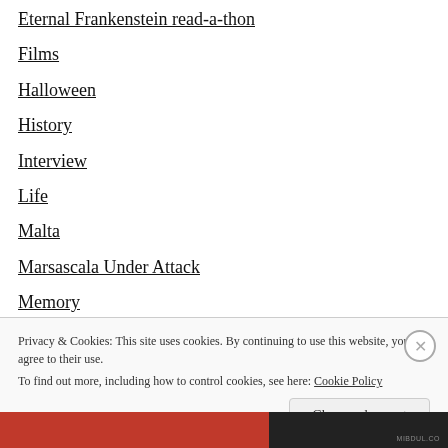Eternal Frankenstein read-a-thon
Films
Halloween
History
Interview
Life
Malta
Marsascala Under Attack
Memory
MIBDUL
Monster March
Privacy & Cookies: This site uses cookies. By continuing to use this website, you agree to their use.
To find out more, including how to control cookies, see here: Cookie Policy
Close and accept